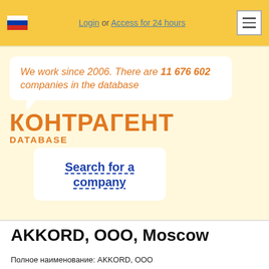Login or Access for 24 hours
We work since 2006. There are 11 676 602 companies in the database
КОНТРАГЕНТ DATABASE
Search for a company
AKKORD, OOO, Moscow
Полное наименование: AKKORD, ООО
Documents
Extract from EGRUL